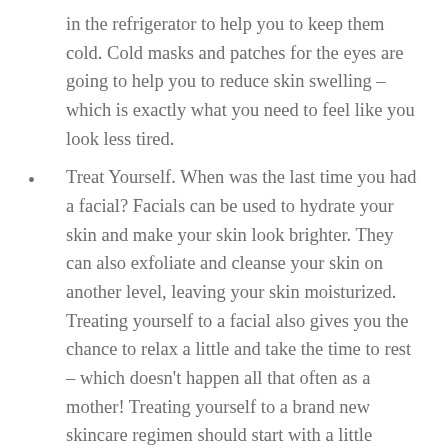in the refrigerator to help you to keep them cold. Cold masks and patches for the eyes are going to help you to reduce skin swelling – which is exactly what you need to feel like you look less tired.
Treat Yourself. When was the last time you had a facial? Facials can be used to hydrate your skin and make your skin look brighter. They can also exfoliate and cleanse your skin on another level, leaving your skin moisturized. Treating yourself to a facial also gives you the chance to relax a little and take the time to rest – which doesn't happen all that often as a mother! Treating yourself to a brand new skincare regimen should start with a little cleansing. You won't regret it.
Massage. Speaking of treating yourself, massage for sluggish circulation is going to help you with the puffiness and exhausted skin. There are great